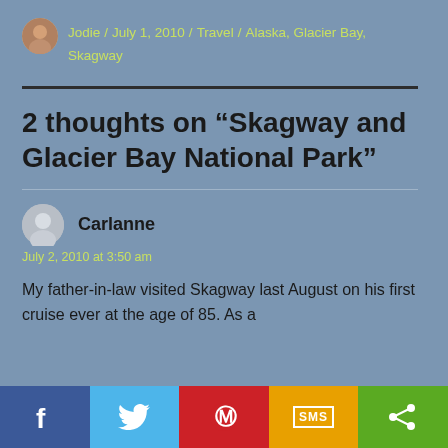Jodie / July 1, 2010 / Travel / Alaska, Glacier Bay, Skagway
2 thoughts on “Skagway and Glacier Bay National Park”
Carlanne
July 2, 2010 at 3:50 am
My father-in-law visited Skagway last August on his first cruise ever at the age of 85. As a